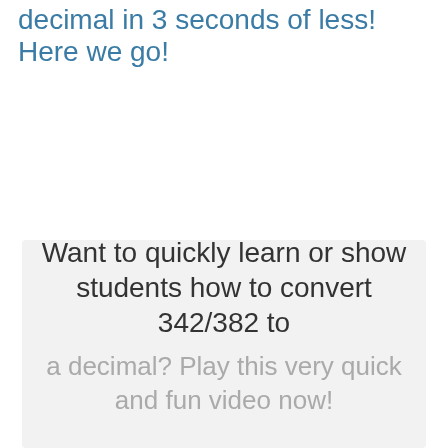decimal in 3 seconds of less! Here we go!
Want to quickly learn or show students how to convert 342/382 to a decimal? Play this very quick and fun video now!